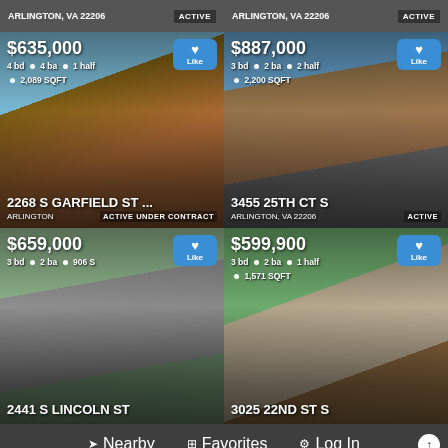[Figure (screenshot): Real estate listing app showing 4 property listings in Arlington, VA with prices, specs, and property photos]
ARLINGTON, VA 22206 ACTIVE
ARLINGTON, VA 22206 ACTIVE
[Figure (photo): Brick townhouse at 2268 S Garfield St]
$635,000 4 bd 4 ba 1 half 2,089 SQFT 2268 S GARFIELD ST ... ARLINGTON ACTIVE UNDER CONTRACT Like
[Figure (photo): Brick apartment building at 3455 25TH CT S]
$887,000 3 bd 2 ba 2 half 2,200 SQFT 3455 25TH CT S ARLINGTON, VA 22206 ACTIVE Like
[Figure (photo): Gray cottage at 2441 S Lincoln St]
$659,000 3 bd 2 ba 906 S 2441 S LINCOLN ST Like
[Figure (photo): Colonial house at 3025 22ND ST S]
$599,900 3 bd 2 ba 1 half 1,571 SQFT 3025 22ND ST S Like
Nearby  Favorites  Log In